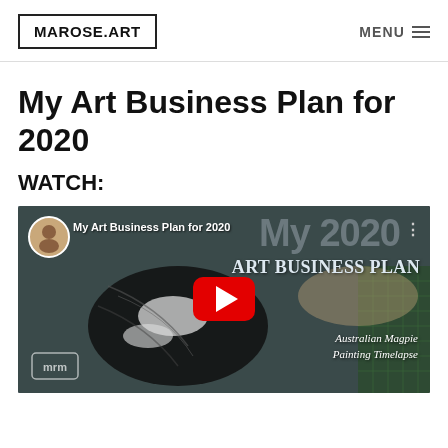MAROSE.ART   MENU
My Art Business Plan for 2020
WATCH:
[Figure (screenshot): YouTube video thumbnail showing 'My Art Business Plan for 2020' with a painting of an Australian Magpie, a red YouTube play button in the center, the channel logo/profile picture, and overlay text reading 'My 2020 Art Business Plan' and 'Australian Magpie Painting Timelapse']